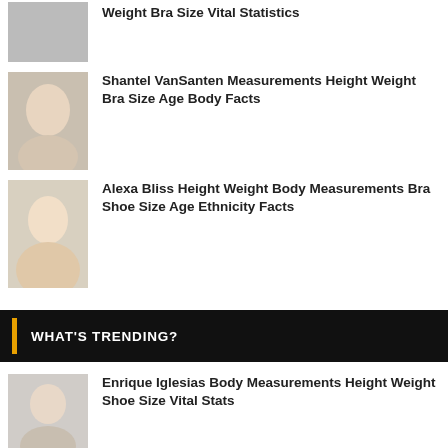Weight Bra Size Vital Statistics
Shantel VanSanten Measurements Height Weight Bra Size Age Body Facts
Alexa Bliss Height Weight Body Measurements Bra Shoe Size Age Ethnicity Facts
WHAT'S TRENDING?
Enrique Iglesias Body Measurements Height Weight Shoe Size Vital Stats